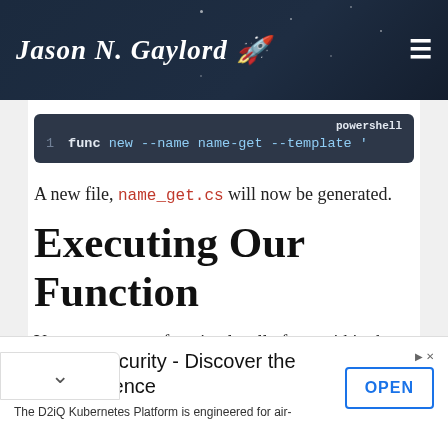Jason N. Gaylord 🚀
[Figure (screenshot): Code block showing powershell command: func new --name name-get --template]
A new file, name_get.cs will now be generated.
Executing Our Function
You can run your function locally from within the c:\repos\api by executing the following command:
Air-Tight Security - Discover the D2iQ Difference
The D2iQ Kubernetes Platform is engineered for air-